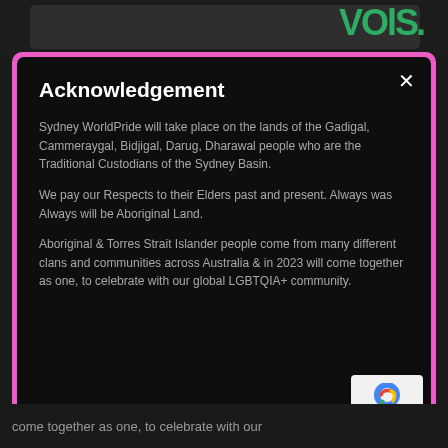[Figure (screenshot): Dark background with partial green stylized logo text visible at top right]
Acknowledgement
Sydney WorldPride will take place on the lands of the Gadigal, Cammeraygal, Bidjigal, Darug, Dharawal people who are the Traditional Custodians of the Sydney Basin.
We pay our Respects to their Elders past and present. Always was Always will be Aboriginal Land.
Aboriginal & Torres Strait Islander people come from many different clans and communities across Australia & in 2023 will come together as one, to celebrate with our global LGBTQIA+ community.
come together as one, to celebrate with our